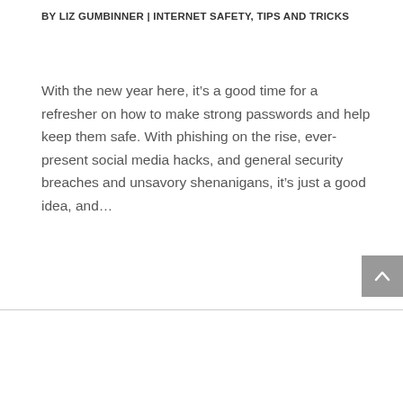BY LIZ GUMBINNER | INTERNET SAFETY, TIPS AND TRICKS
With the new year here, it’s a good time for a refresher on how to make strong passwords and help keep them safe. With phishing on the rise, ever-present social media hacks, and general security breaches and unsavory shenanigans, it’s just a good idea, and…